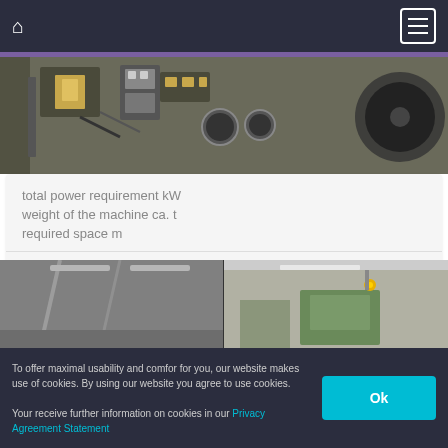[Figure (photo): Close-up photo of electrical/mechanical components including circuit breakers, switches, wiring, and gauges on a machine]
total power requirement kW
weight of the machine ca. t
required space m
FRECH
Accessories for Diecasting Machines
Datasheet
Watch list
Request / Contact
[Figure (photo): Industrial facility interior showing warehouse/factory floor with green machinery and structural supports]
To offer maximal usability and comfor for you, our website makes use of cookies. By using our website you agree to use cookies.

Your receive further information on cookies in our Privacy Agreement Statement